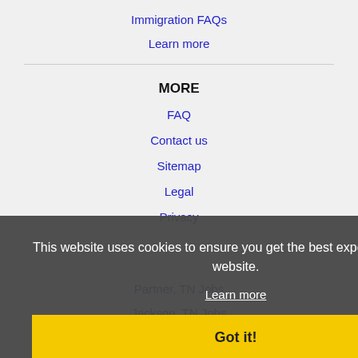Immigration FAQs
Learn more
MORE
FAQ
Contact us
Sitemap
Legal
Privacy
Partner, TN Jobs
Jackson, TN Jobs
Jonesboro, AR Jobs
Southaven, MS Jobs
This website uses cookies to ensure you get the best experience on our website.
Learn more
Got it!